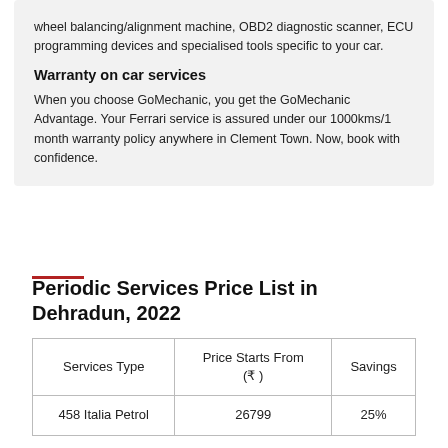wheel balancing/alignment machine, OBD2 diagnostic scanner, ECU programming devices and specialised tools specific to your car.
Warranty on car services
When you choose GoMechanic, you get the GoMechanic Advantage. Your Ferrari service is assured under our 1000kms/1 month warranty policy anywhere in Clement Town. Now, book with confidence.
Periodic Services Price List in Dehradun, 2022
| Services Type | Price Starts From (₹ ) | Savings |
| --- | --- | --- |
| 458 Italia Petrol | 26799 | 25% |